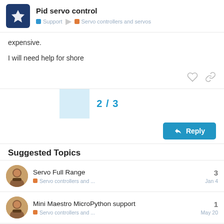Pid servo control — Support / Servo controllers and servos
expensive.
I will need help for shore
2 / 3
Reply
Suggested Topics
Servo Full Range — Servo controllers and ... — 3 — Jan 4
Mini Maestro MicroPython support — Servo controllers and ... — 1 — May 20
Connect a Micro Maestro to Feather basic 32u42 — 1